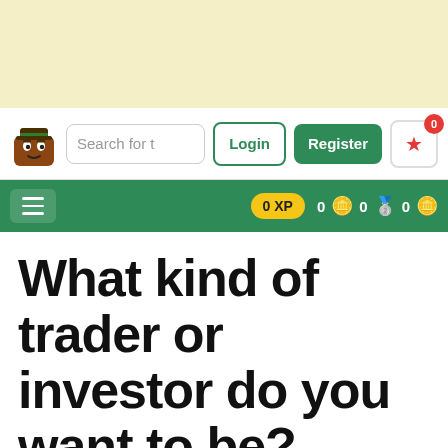[Figure (screenshot): Top cream/yellow banner area of a financial education website]
Search for t  Login  Register  0  0 XP  0  0  0
What kind of trader or investor do you want to be?
When you start trading or investing, it almost